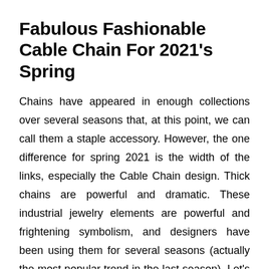Fabulous Fashionable Cable Chain For 2021's Spring
Chains have appeared in enough collections over several seasons that, at this point, we can call them a staple accessory. However, the one difference for spring 2021 is the width of the links, especially the Cable Chain design. Thick chains are powerful and dramatic. These industrial jewelry elements are powerful and frightening symbolism, and designers have been using them for several seasons (actually the most popular trend in the last season). Let's start with Victoria Beckham, whose models wear heavy gold necklaces and collars; some chains are decorated with a large, thick ring as a pendant.